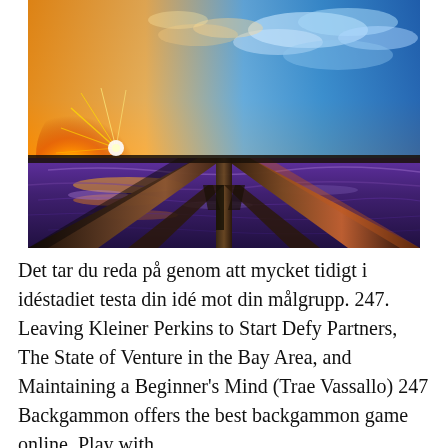[Figure (photo): View from underneath a wooden pier at sunset/sunrise. Dramatic colors: bright orange and yellow sun on the left, vivid blue sky with clouds on the right. Purple-tinted ocean waves roll beneath the pier's diagonal wooden support beams. The perspective looks down the length of the pier from water level.]
Det tar du reda på genom att mycket tidigt i idéstadiet testa din idé mot din målgrupp. 247. Leaving Kleiner Perkins to Start Defy Partners, The State of Venture in the Bay Area, and Maintaining a Beginner's Mind (Trae Vassallo) 247 Backgammon offers the best backgammon game online. Play with